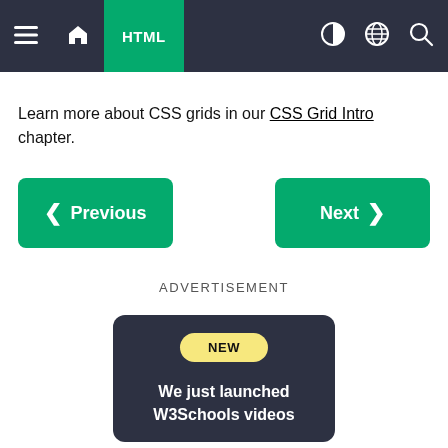HTML
Learn more about CSS grids in our CSS Grid Intro chapter.
❮ Previous
Next ❯
ADVERTISEMENT
NEW
We just launched W3Schools videos